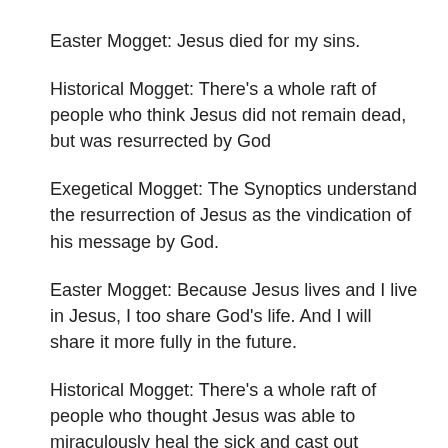Easter Mogget: Jesus died for my sins.
Historical Mogget: There's a whole raft of people who think Jesus did not remain dead, but was resurrected by God
Exegetical Mogget: The Synoptics understand the resurrection of Jesus as the vindication of his message by God.
Easter Mogget: Because Jesus lives and I live in Jesus, I too share God's life. And I will share it more fully in the future.
Historical Mogget: There's a whole raft of people who thought Jesus was able to miraculously heal the sick and cast out demons. Go ask a theologian if miracles and demons exist.